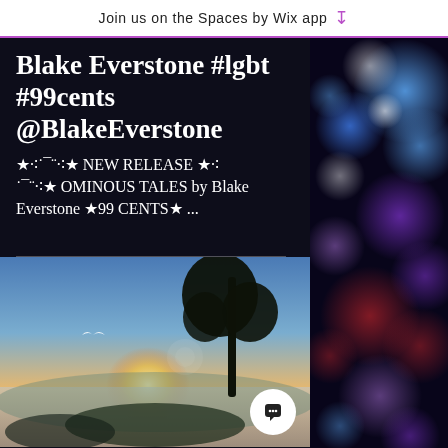Join us on the Spaces by Wix app ↓
Blake Everstone #lgbt #99cents @BlakeEverstone
★·:·˜¨·:★ NEW RELEASE ★·:· ˜¨·:★ OMINOUS TALES by Blake Everstone ★99 CENTS★ ...
[Figure (photo): Nature photo showing a misty sunrise landscape with a tree silhouette on the right and a bird in flight on the left, with foggy fields in the foreground]
[Figure (photo): Bokeh lights photo on the right side — blurred blue, purple, red and white circular light bokeh on a dark background]